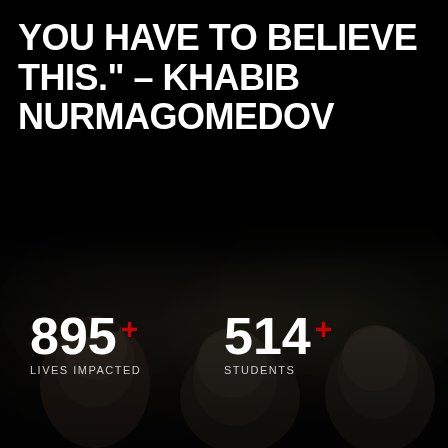YOU HAVE TO BELIEVE THIS." – KHABIB NURMAGOMEDOV
[Figure (photo): Dark background photo showing multiple men's faces in dim outdoor lighting, partially visible at the bottom of the image]
895+ LIVES IMPACTED
514+ STUDENTS